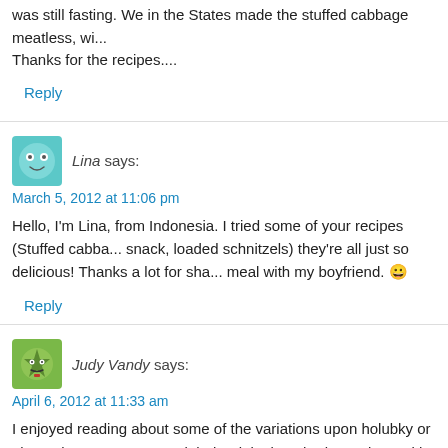was still fasting. We in the States made the stuffed cabbage meatless, wi... Thanks for the recipes....
Reply
Lina says:
March 5, 2012 at 11:06 pm
Hello, I'm Lina, from Indonesia. I tried some of your recipes (Stuffed cabba... snack, loaded schnitzels) they're all just so delicious! Thanks a lot for sha... meal with my boyfriend. 😊
Reply
Judy Vandy says:
April 6, 2012 at 11:33 am
I enjoyed reading about some of the variations upon holubky or plnena ka... Hervartov and their original method was done with pork and beef, raw rice... (I was told they didn't have tomatoes in the region at the time they emigra... hopubky in tomato sauce when I came along and didn't like sauerkraut!
Interestingly, my halusky were done with either browned butter oir fried ca... a few months ago!